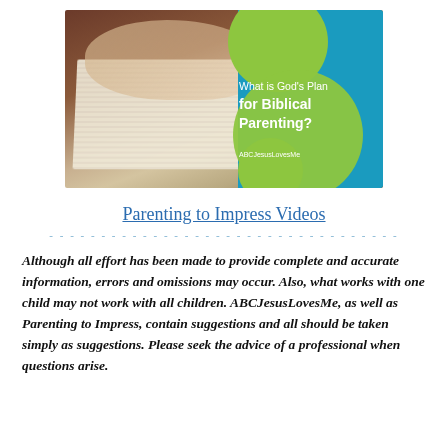[Figure (photo): A photo of hands pointing to an open Bible, with a blue and green branded overlay panel reading 'What is God's Plan for Biblical Parenting?' and 'ABCJesusLovesMe' branding.]
Parenting to Impress Videos
Although all effort has been made to provide complete and accurate information, errors and omissions may occur. Also, what works with one child may not work with all children. ABCJesusLovesMe, as well as Parenting to Impress, contain suggestions and all should be taken simply as suggestions. Please seek the advice of a professional when questions arise.